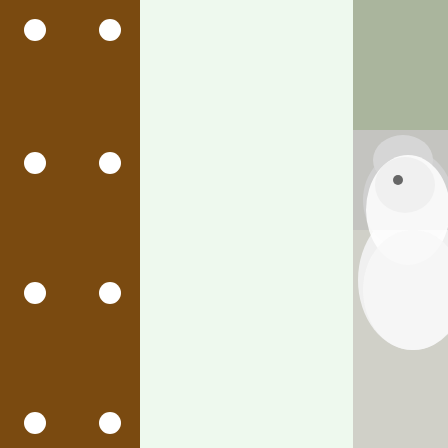[Figure (illustration): Brown sidebar with white polka dots arranged in two columns running vertically along the left edge of the page]
[Figure (photo): Partial photo of a white fluffy dog (Dottie) with a mohawk, cropped at the right edge, top of page]
Let's play chase, shall we?! Isn't Dottie's mohawk awe
[Figure (photo): Partial photo of a white dog running or playing outside on grass, cropped at the right edge, bottom of page]